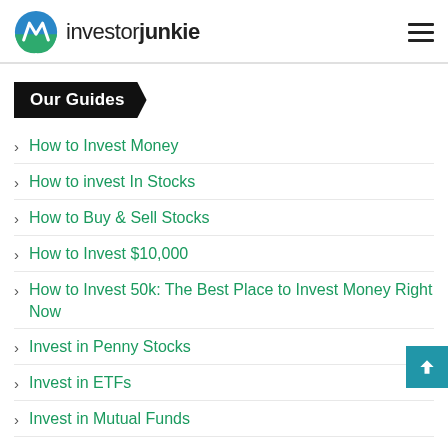investorjunkie
Our Guides
How to Invest Money
How to invest In Stocks
How to Buy & Sell Stocks
How to Invest $10,000
How to Invest 50k: The Best Place to Invest Money Right Now
Invest in Penny Stocks
Invest in ETFs
Invest in Mutual Funds
Invest in Foreign Stocks (Forex)
Invest in the S&P 500 Index